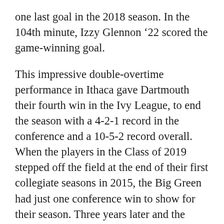one last goal in the 2018 season. In the 104th minute, Izzy Glennon ’22 scored the game-winning goal.
This impressive double-overtime performance in Ithaca gave Dartmouth their fourth win in the Ivy League, to end the season with a 4-2-1 record in the conference and a 10-5-2 record overall. When the players in the Class of 2019 stepped off the field at the end of their first collegiate seasons in 2015, the Big Green had just one conference win to show for their season. Three years later and the mood is quite different. The Dartmouth women recorded their first double-digit win count since 2012 and finished 3rd in the Ivy League — the highest they have placed win the rankings since 2014. The Class of 2019 has set a new standard for the Dartmouth women soccer team of the futu…